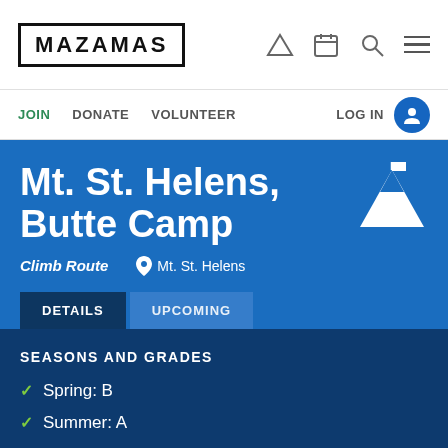MAZAMAS
Mt. St. Helens, Butte Camp
Climb Route   Mt. St. Helens
SEASONS AND GRADES
Spring: B
Summer: A
Fall: A